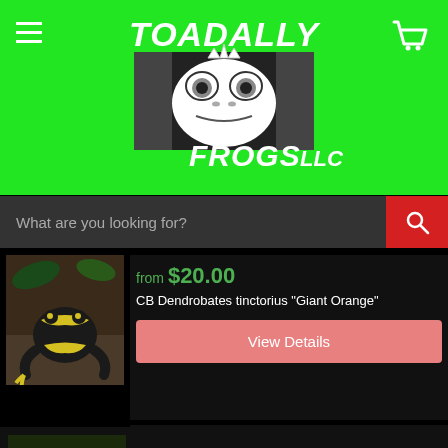TOADALLY FROGS LLC
[Figure (logo): Toadally Frogs LLC logo: white text 'TOADALLY' and 'FROGS LLC' with a frog face graphic on black background, set on bright green banner with hamburger menu icon and shopping cart icon]
What are you looking for?
from $20.00
CB Dendrobates tinctorius "Giant Orange"
[Figure (photo): Close-up photo of a black and yellow dart frog (Dendrobates tinctorius) on brown substrate with vegetation]
View Details
from $20.00
[Figure (photo): Photo of green plant with star-shaped leaves, likely a bromeliad or similar tropical plant]